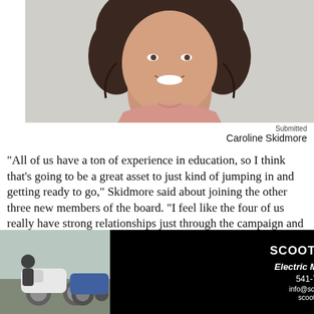[Figure (photo): Headshot of woman with curly dark hair, smiling, wearing a pink top, against a light background]
Submitted
Caroline Skidmore
"All of us have a ton of experience in education, so I think that's going to be a great asset to just kind of jumping in and getting ready to go," Skidmore said about joining the other three new members of the board. "I feel like the four of us really have strong relationships just through the campaign and then we're also making great connections and receiving a lot of support from current board members that will
[Figure (photo): Photo of two electric mopeds parked outside with a person nearby]
[Figure (advertisement): Scoot Bend advertisement with logo, Electric Moped Rental, phone 541-797-9017, info@scootbend.com, scootbend.com]